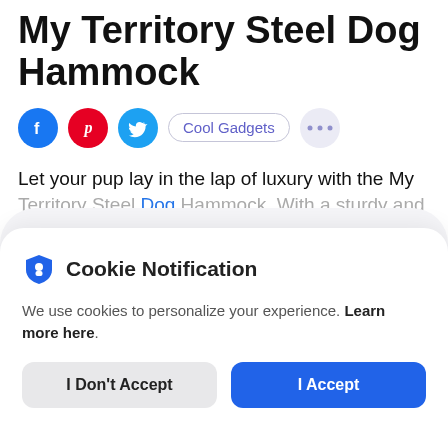My Territory Steel Dog Hammock
[Figure (illustration): Row of social sharing icons: Facebook (blue circle), Pinterest (red circle), Twitter (cyan circle), a pill-shaped tag reading 'Cool Gadgets', and a dots/more button (light purple circle)]
Let your pup lay in the lap of luxury with the My Territory Steel Dog Hammock. With a sturdy and durable design, this bed has an interchangeable
[Figure (screenshot): Cookie notification modal popup with shield icon, title 'Cookie Notification', body text, and two buttons: 'I Don't Accept' and 'I Accept']